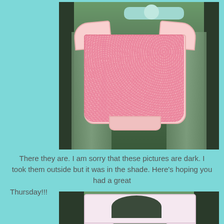[Figure (photo): A pink floral baby onesie displayed outdoors against a dark wooden background with green foliage]
There they are.  I am sorry that these pictures are dark.  I took them outside but it was in the shade. Here's hoping you had a great Thursday!!!
[Figure (photo): A baby bib with pink bird/floral pattern displayed on a dark wooden surface outdoors]